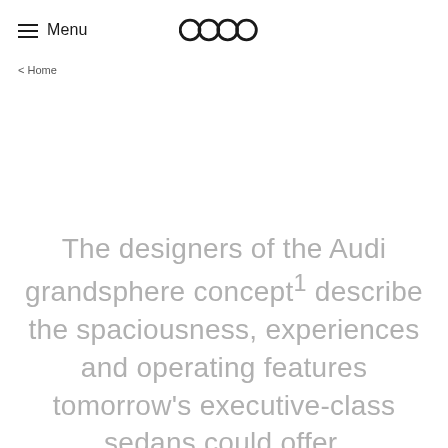Menu
[Figure (logo): Audi four-ring logo centered in page header]
< Home
The designers of the Audi grandsphere concept¹ describe the spaciousness, experiences and operating features tomorrow's executive-class sedans could offer.